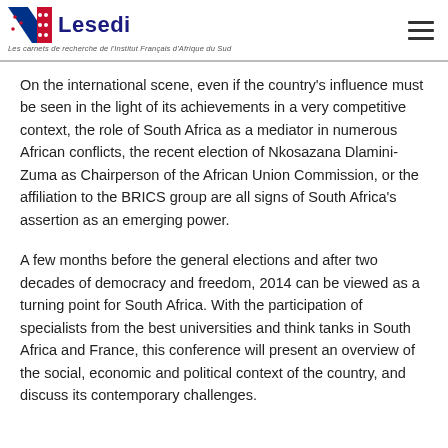Lesedi — Les carnets de recherche de l'Institut Français d'Afrique du Sud
On the international scene, even if the country's influence must be seen in the light of its achievements in a very competitive context, the role of South Africa as a mediator in numerous African conflicts, the recent election of Nkosazana Dlamini-Zuma as Chairperson of the African Union Commission, or the affiliation to the BRICS group are all signs of South Africa's assertion as an emerging power.
A few months before the general elections and after two decades of democracy and freedom, 2014 can be viewed as a turning point for South Africa. With the participation of specialists from the best universities and think tanks in South Africa and France, this conference will present an overview of the social, economic and political context of the country, and discuss its contemporary challenges.